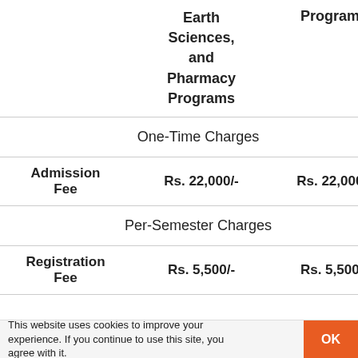|  | Earth Sciences, and Pharmacy Programs | Programs |
| --- | --- | --- |
|  | One-Time Charges |  |
| Admission Fee | Rs. 22,000/- | Rs. 22,000/- |
|  | Per-Semester Charges |  |
| Registration Fee | Rs. 5,500/- | Rs. 5,500/- |
This website uses cookies to improve your experience. If you continue to use this site, you agree with it.